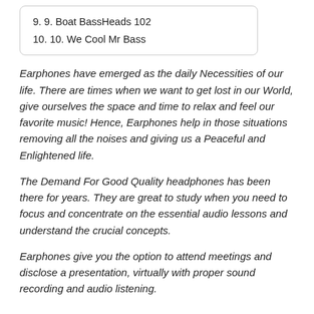9. 9. Boat BassHeads 102
10. 10. We Cool Mr Bass
Earphones have emerged as the daily Necessities of our life. There are times when we want to get lost in our World, give ourselves the space and time to relax and feel our favorite music! Hence, Earphones help in those situations removing all the noises and giving us a Peaceful and Enlightened life.
The Demand For Good Quality headphones has been there for years. They are great to study when you need to focus and concentrate on the essential audio lessons and understand the crucial concepts.
Earphones give you the option to attend meetings and disclose a presentation, virtually with proper sound recording and audio listening.